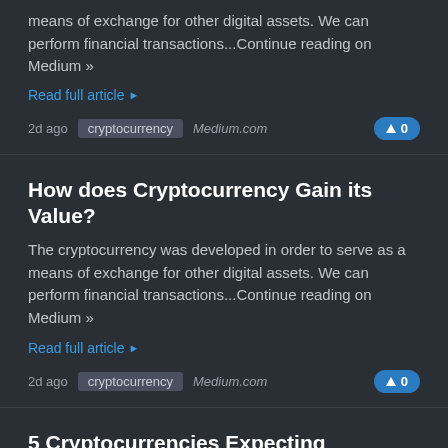means of exchange for other digital assets. We can perform financial transactions...Continue reading on Medium »
Read full article ▶
2d ago   cryptocurrency   Medium.com   ▲ 0
How does Cryptocurrency Gain its Value?
The cryptocurrency was developed in order to serve as a means of exchange for other digital assets. We can perform financial transactions...Continue reading on Medium »
Read full article ▶
2d ago   cryptocurrency   Medium.com   ▲ 0
5 Cryptocurrencies Expecting Massive Rises As Soon As Corrections End